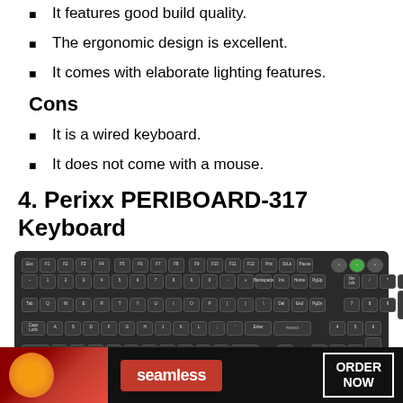It features good build quality.
The ergonomic design is excellent.
It comes with elaborate lighting features.
Cons
It is a wired keyboard.
It does not come with a mouse.
4. Perixx PERIBOARD-317 Keyboard
[Figure (photo): Photo of the Perixx PERIBOARD-317 wired keyboard, a full-sized black keyboard with numpad, backlit keys, and a USB cable visible at the top right. A CLOSE button is visible in the bottom-right corner of the image.]
[Figure (infographic): Seamless food delivery advertisement banner showing pizza, the Seamless logo in red, and an ORDER NOW button.]